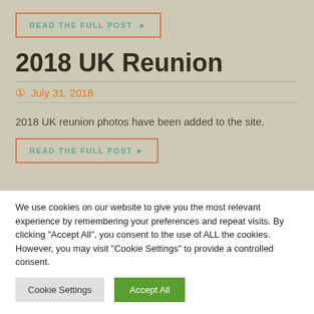READ THE FULL POST ▶
2018 UK Reunion
July 31, 2018
2018 UK reunion photos have been added to the site.
READ THE FULL POST ▶
We use cookies on our website to give you the most relevant experience by remembering your preferences and repeat visits. By clicking "Accept All", you consent to the use of ALL the cookies. However, you may visit "Cookie Settings" to provide a controlled consent.
Cookie Settings
Accept All